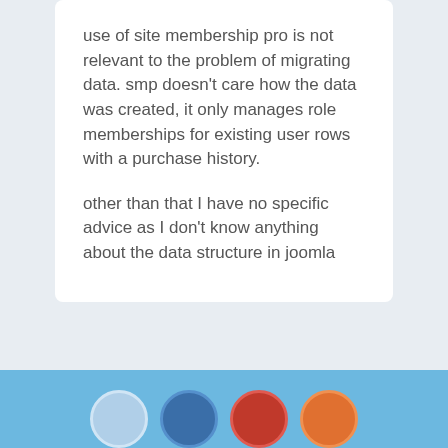use of site membership pro is not relevant to the problem of migrating data. smp doesn't care how the data was created, it only manages role memberships for existing user rows with a purchase history.
other than that I have no specific advice as I don't know anything about the data structure in joomla
You must sign in to post in the forums. This thread is closed to new posts.
[Figure (illustration): Footer bar with light blue background and partial circular avatar icons at the bottom]